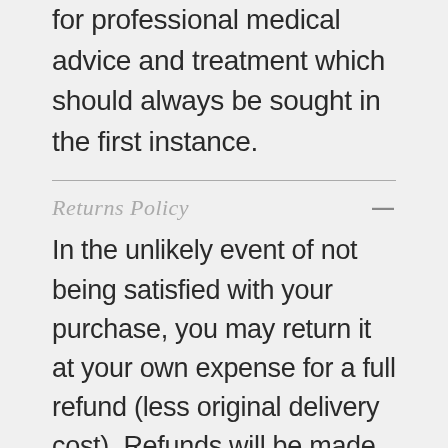nay intended to be substitutes for professional medical advice and treatment which should always be sought in the first instance.
Returns Policy
In the unlikely event of not being satisfied with your purchase, you may return it at your own expense for a full refund (less original delivery cost). Refunds will be made within 30 days. Before any returns you must follow this procedure - contact us first either by email (info@lotuscrystals.co.uk) or by